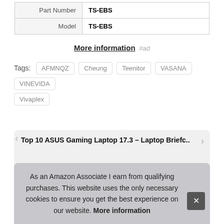| Part Number | TS-EBS |
| Model | TS-EBS |
More information #ad
Tags: AFMNQZ Cheung Teenitor VASANA VINEVIDA Vivaplex
Top 10 ASUS Gaming Laptop 17.3 – Laptop Briefc...
As an Amazon Associate I earn from qualifying purchases. This website uses the only necessary cookies to ensure you get the best experience on our website. More information